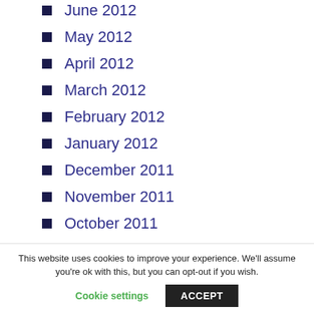June 2012
May 2012
April 2012
March 2012
February 2012
January 2012
December 2011
November 2011
October 2011
September 2011
August 2011
This website uses cookies to improve your experience. We'll assume you're ok with this, but you can opt-out if you wish.